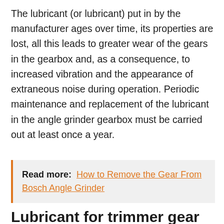The lubricant (or lubricant) put in by the manufacturer ages over time, its properties are lost, all this leads to greater wear of the gears in the gearbox and, as a consequence, to increased vibration and the appearance of extraneous noise during operation. Periodic maintenance and replacement of the lubricant in the angle grinder gearbox must be carried out at least once a year.
Read more: How to Remove the Gear From Bosch Angle Grinder
Lubricant for trimmer gear